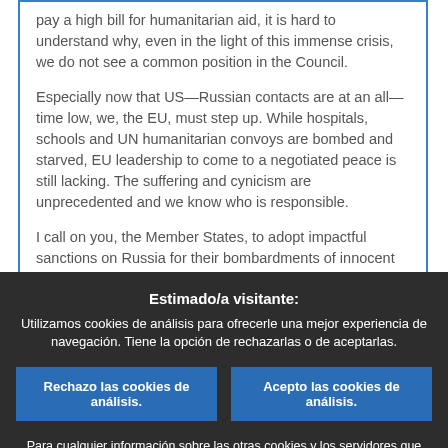pay a high bill for humanitarian aid, it is hard to understand why, even in the light of this immense crisis, we do not see a common position in the Council.
Especially now that US—Russian contacts are at an all—time low, we, the EU, must step up. While hospitals, schools and UN humanitarian convoys are bombed and starved, EU leadership to come to a negotiated peace is still lacking. The suffering and cynicism are unprecedented and we know who is responsible.
I call on you, the Member States, to adopt impactful sanctions on Russia for their bombardments of innocent people against the UN Security Council resolution. To Mr Obermayr, I would like to say that this is not a matter of having Russian this is not t
Estimado/a visitante:
Utilizamos cookies de análisis para ofrecerle una mejor experiencia de navegación. Tiene la opción de rechazarlas o de aceptarlas.
Rechazo las cookies de análisis.
Acepto las cookies de análisis.
Para cualquier información sobre las otras cookies y los servidores que utilizamos, le rogamos lea nuestra política de Protección de los datos personales , nuestra Política de cookies y nuestro Inventario de cookies.